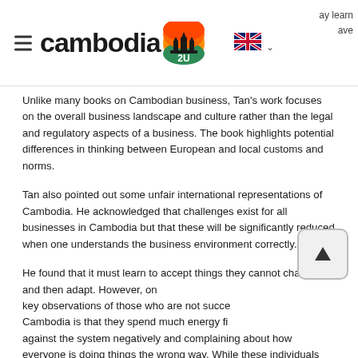cambodia 2U — language selector — ay learn ave
Unlike many books on Cambodian business, Tan's work focuses on the overall business landscape and culture rather than the legal and regulatory aspects of a business. The book highlights potential differences in thinking between European and local customs and norms.
Tan also pointed out some unfair international representations of Cambodia. He acknowledged that challenges exist for all businesses in Cambodia but that these will be significantly reduced when one understands the business environment correctly.
He found that it must learn to accept things they cannot change and then adapt. However, one key observations of those who are not successful in Cambodia is that they spend much energy fighting against the system negatively and complaining about how everyone is doing things the wrong way. While these individuals may be factually correct, it is rarely a productive strategy.
Mev Kalyan, Senior Advisor to Supreme National